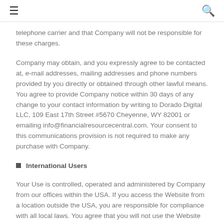≡  🔍
telephone carrier and that Company will not be responsible for these charges.
Company may obtain, and you expressly agree to be contacted at, e-mail addresses, mailing addresses and phone numbers provided by you directly or obtained through other lawful means. You agree to provide Company notice within 30 days of any change to your contact information by writing to Dorado Digital LLC, 109 East 17th Street #5670 Cheyenne, WY 82001 or emailing info@financialresourcecentral.com. Your consent to this communications provision is not required to make any purchase with Company.
International Users
Your Use is controlled, operated and administered by Company from our offices within the USA. If you access the Website from a location outside the USA, you are responsible for compliance with all local laws. You agree that you will not use the Website any country or in any manner prohibited by any applicable